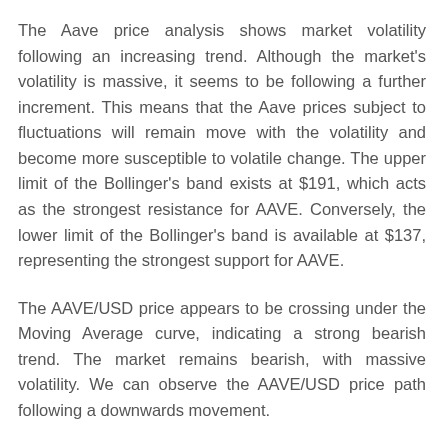The Aave price analysis shows market volatility following an increasing trend. Although the market's volatility is massive, it seems to be following a further increment. This means that the Aave prices subject to fluctuations will remain move with the volatility and become more susceptible to volatile change. The upper limit of the Bollinger's band exists at $191, which acts as the strongest resistance for AAVE. Conversely, the lower limit of the Bollinger's band is available at $137, representing the strongest support for AAVE.
The AAVE/USD price appears to be crossing under the Moving Average curve, indicating a strong bearish trend. The market remains bearish, with massive volatility. We can observe the AAVE/USD price path following a downwards movement.